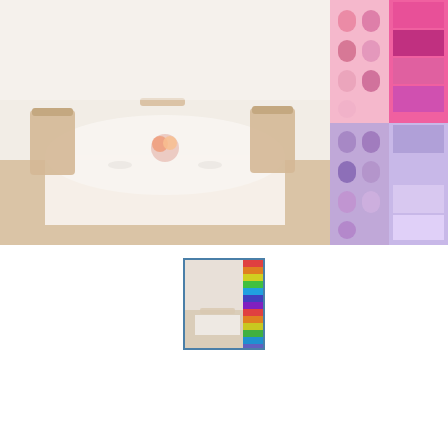[Figure (photo): Wedding reception table setting with white tablecloths and wooden chairs, and colorful paper garlands/decorations on the right side]
[Figure (photo): Small thumbnail showing wedding decoration venue and colorful garland swatches]
3 m Garlands Clover Paper For Street Wedding Decoration
96% of buyers enjoyed this product! 2360 orders
Color: